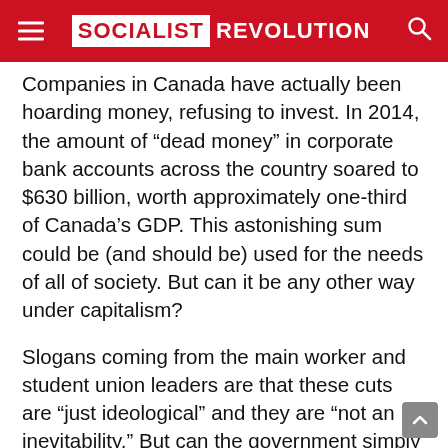SOCIALIST REVOLUTION
Companies in Canada have actually been hoarding money, refusing to invest. In 2014, the amount of “dead money” in corporate bank accounts across the country soared to $630 billion, worth approximately one-third of Canada’s GDP. This astonishing sum could be (and should be) used for the needs of all of society. But can it be any other way under capitalism?
Slogans coming from the main worker and student union leaders are that these cuts are “just ideological” and they are “not an inevitability.” But can the government simply continue to run deficits and increase the public debt? The unions have pointed out that the real problem is the faltering Quebec